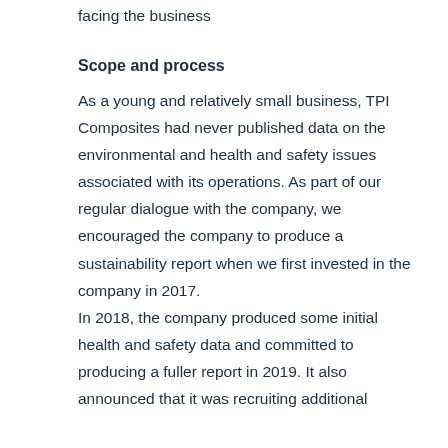facing the business
Scope and process
As a young and relatively small business, TPI Composites had never published data on the environmental and health and safety issues associated with its operations. As part of our regular dialogue with the company, we encouraged the company to produce a sustainability report when we first invested in the company in 2017.
In 2018, the company produced some initial health and safety data and committed to producing a fuller report in 2019. It also announced that it was recruiting additional